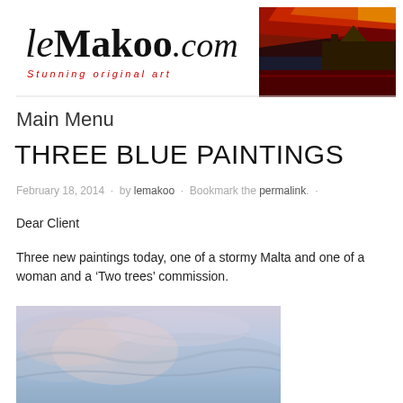[Figure (illustration): leMakoo.com website banner with logo text 'leMakoo.com' and tagline 'Stunning original art' on white background, with a colorful painting of a Maltese cityscape at sunset on the right side]
Main Menu
THREE BLUE PAINTINGS
February 18, 2014 · by lemakoo · Bookmark the permalink. ·
Dear Client
Three new paintings today, one of a stormy Malta and one of a woman and a 'Two trees' commission.
[Figure (photo): Partial view of a blue painting showing a stormy sea or sky with blue and grey tones]